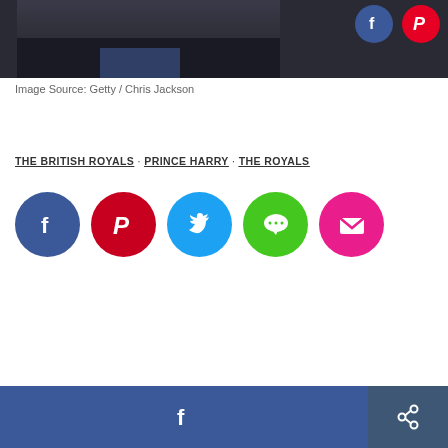[Figure (photo): Partial photo of a person, cropped at top of page]
Image Source: Getty / Chris Jackson
THE BRITISH ROYALS · PRINCE HARRY · THE ROYALS
[Figure (infographic): Social media share buttons: Facebook, Pinterest, Twitter, Messages, Email]
[Figure (infographic): Bottom bar with Facebook share button and generic share button]